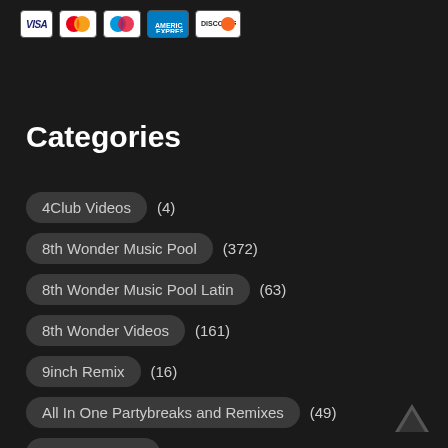[Figure (logo): Payment method icons: Visa, Mastercard, Maestro, American Express, Discover]
Categories
4Club Videos (4)
8th Wonder Music Pool (372)
8th Wonder Music Pool Latin (63)
8th Wonder Videos (161)
9inch Remix (16)
All In One Partybreaks and Remixes (49)
Am Video Edits (2)
America Remix (140)